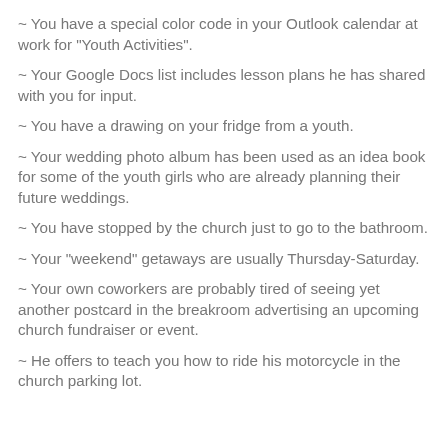~ You have a special color code in your Outlook calendar at work for "Youth Activities".
~ Your Google Docs list includes lesson plans he has shared with you for input.
~ You have a drawing on your fridge from a youth.
~ Your wedding photo album has been used as an idea book for some of the youth girls who are already planning their future weddings.
~ You have stopped by the church just to go to the bathroom.
~ Your "weekend" getaways are usually Thursday-Saturday.
~ Your own coworkers are probably tired of seeing yet another postcard in the breakroom advertising an upcoming church fundraiser or event.
~ He offers to teach you how to ride his motorcycle in the church parking lot.